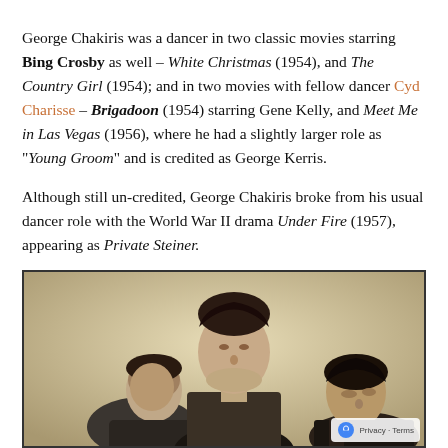George Chakiris was a dancer in two classic movies starring Bing Crosby as well – White Christmas (1954), and The Country Girl (1954); and in two movies with fellow dancer Cyd Charisse – Brigadoon (1954) starring Gene Kelly, and Meet Me in Las Vegas (1956), where he had a slightly larger role as "Young Groom" and is credited as George Kerris.
Although still un-credited, George Chakiris broke from his usual dancer role with the World War II drama Under Fire (1957), appearing as Private Steiner.
[Figure (photo): Black and white photo of three young men, George Chakiris in center looking upward, two others flanking him. Appears to be a still from a film or promotional photo.]